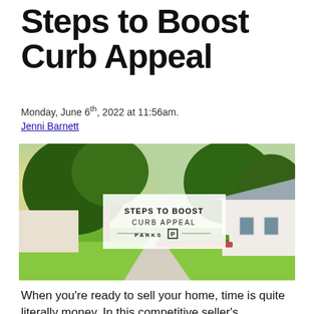Steps to Boost Curb Appeal
Monday, June 6th, 2022 at 11:56am.
Jenni Barnett
[Figure (photo): Outdoor photo of a home with lush green lawn, large trees, and a winding pathway. Overlaid white box with text: STEPS TO BOOST CURB APPEAL, PARKS [logo]]
When you’re ready to sell your home, time is quite literally money. In this competitive seller’s